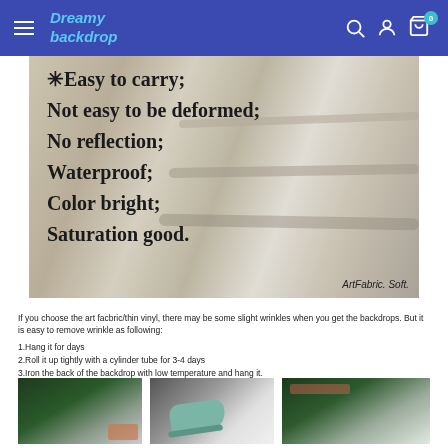Dreamy backdrop
[Figure (photo): Stack of white/light fabric rolls with text overlay listing product features: Easy to carry; Not easy to be deformed; No reflection; Waterproof; Color bright; Saturation good. Watermark: ArtFabric. Soft.]
If you choose the art facbric/thin vinyl, there may be some slight wrinkles when you get the backdrops. But it is easy to remove wrinkle as following:
1.Hang it for days
2.Roll it up tightly with a cylinder tube for 3-4 days
3.Iron the back of the backdrop with low temperature and hang it.
[Figure (photo): Three photos showing backdrop use/ironing: a backdrop on floor, a hand iron pressing backdrop, and a printed backdrop laid flat.]